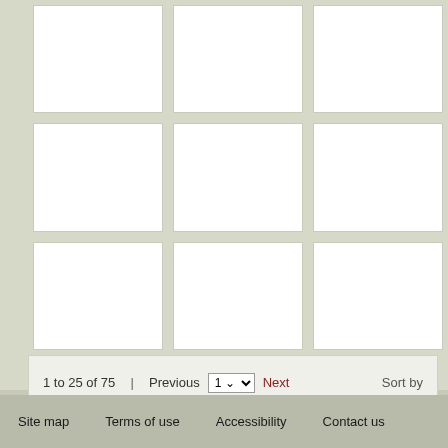[Figure (other): A 3x3 grid of white rectangular cells on a light grey-green background, partially visible (top row cropped). Appears to be a search results or gallery grid layout.]
1 to 25 of 75  |  Previous  1 ▾  Next  Sort by
Site map   Terms of use   Accessibility   Contact us